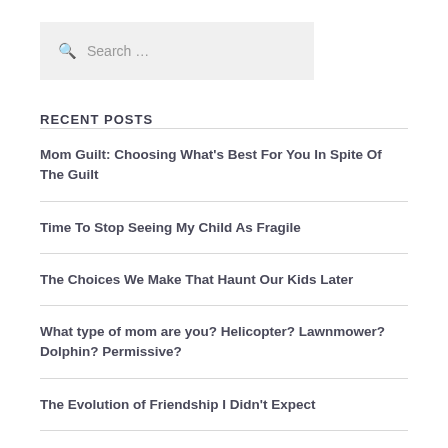[Figure (screenshot): Search box with magnifying glass icon and placeholder text 'Search ...']
RECENT POSTS
Mom Guilt: Choosing What's Best For You In Spite Of The Guilt
Time To Stop Seeing My Child As Fragile
The Choices We Make That Haunt Our Kids Later
What type of mom are you? Helicopter? Lawnmower? Dolphin? Permissive?
The Evolution of Friendship I Didn't Expect
ARCHIVES